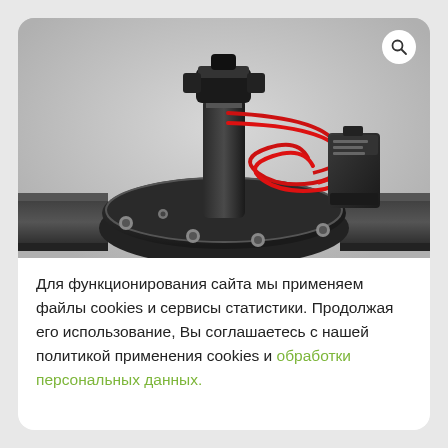[Figure (photo): Close-up photograph of a black solenoid irrigation valve with red wires and a small black rectangular solenoid coil component attached on the right side. The valve body is circular/disc-shaped with bolts and has pipe connections on the sides. White/gray neutral background.]
Для функционирования сайта мы применяем файлы cookies и сервисы статистики. Продолжая его использование, Вы соглашаетесь с нашей политикой применения cookies и обработки персональных данных.